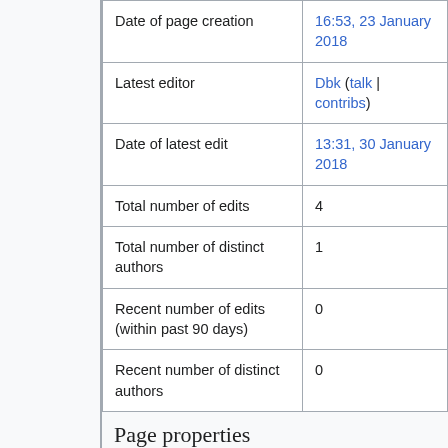|  |  |
| --- | --- |
| Date of page creation | 16:53, 23 January 2018 |
| Latest editor | Dbk (talk | contribs) |
| Date of latest edit | 13:31, 30 January 2018 |
| Total number of edits | 4 |
| Total number of distinct authors | 1 |
| Recent number of edits (within past 90 days) | 0 |
| Recent number of distinct authors | 0 |
Page properties
| Magic word (1) |  |
| --- | --- |
| Magic word (1) | • __NOTOC__ |